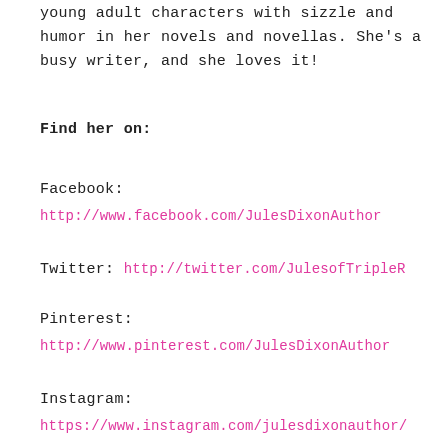young adult characters with sizzle and humor in her novels and novellas. She's a busy writer, and she loves it!
Find her on:
Facebook:
http://www.facebook.com/JulesDixonAuthor
Twitter: http://twitter.com/JulesofTripleR
Pinterest:
http://www.pinterest.com/JulesDixonAuthor
Instagram:
https://www.instagram.com/julesdixonauthor/